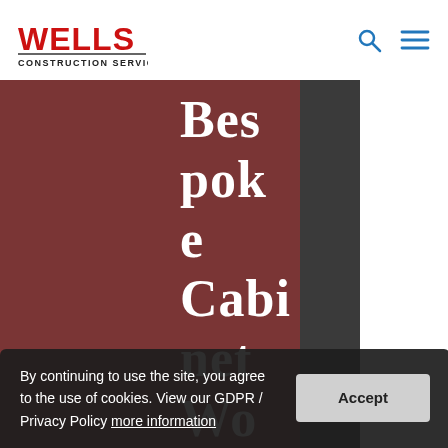[Figure (logo): Wells Construction Services logo — red bold WELLS text with CONSTRUCTION SERVICES below in black]
[Figure (infographic): Search icon (magnifying glass) and hamburger menu icon in blue, top right navigation]
Bespoke Cabinet Wo
By continuing to use the site, you agree to the use of cookies. View our GDPR / Privacy Policy more information Accept